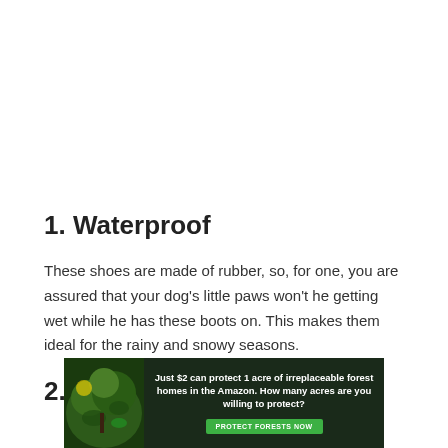1. Waterproof
These shoes are made of rubber, so, for one, you are assured that your dog's little paws won't he getting wet while he has these boots on. This makes them ideal for the rainy and snowy seasons.
2. Protection & Safety
[Figure (infographic): Green advertisement banner: 'Just $2 can protect 1 acre of irreplaceable forest homes in the Amazon. How many acres are you willing to protect?' with a green 'PROTECT FORESTS NOW' button and a forest image on the left.]